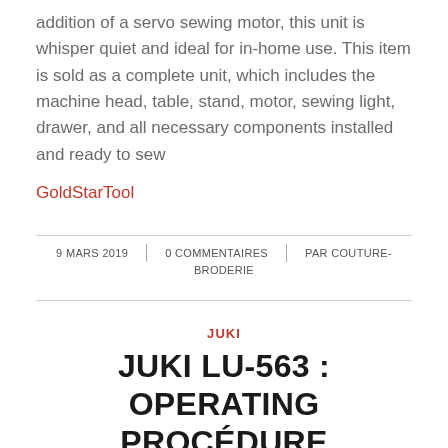addition of a servo sewing motor, this unit is whisper quiet and ideal for in-home use. This item is sold as a complete unit, which includes the machine head, table, stand, motor, sewing light, drawer, and all necessary components installed and ready to sew
GoldStarTool
9 MARS 2019 | 0 COMMENTAIRES | PAR COUTURE-BRODERIE
JUKI
JUKI LU-563 : OPERATING PROCÉDURE